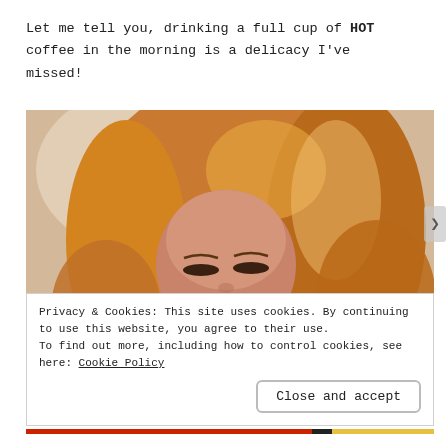Let me tell you, drinking a full cup of HOT coffee in the morning is a delicacy I've missed!
[Figure (photo): A woman with long blonde hair drinking from a large white mug/cup of coffee, eyes closed, warm tones]
Privacy & Cookies: This site uses cookies. By continuing to use this website, you agree to their use. To find out more, including how to control cookies, see here: Cookie Policy
Close and accept